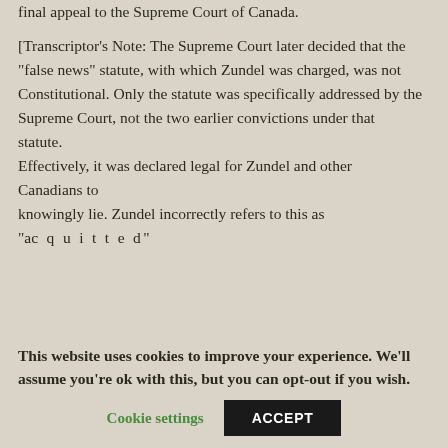final appeal to the Supreme Court of Canada.

[Transcriptor's Note: The Supreme Court later decided that the “false news” statute, with which Zundel was charged, was not Constitutional. Only the statute was specifically addressed by the Supreme Court, not the two earlier convictions under that statute. Effectively, it was declared legal for Zundel and other Canadians to knowingly lie. Zundel incorrectly refers to this as “ac q u i t t e d”
This website uses cookies to improve your experience. We’ll assume you’re ok with this, but you can opt-out if you wish.
Cookie settings   ACCEPT